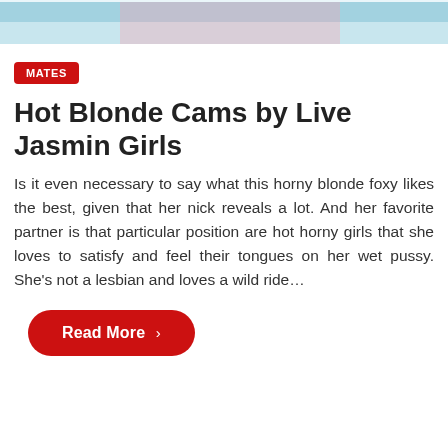[Figure (photo): Cropped top portion of a photo showing a woman in a light blue blazer and pink top]
MATES
Hot Blonde Cams by Live Jasmin Girls
Is it even necessary to say what this horny blonde foxy likes the best, given that her nick reveals a lot. And her favorite partner is that particular position are hot horny girls that she loves to satisfy and feel their tongues on her wet pussy. She's not a lesbian and loves a wild ride…
Read More ›